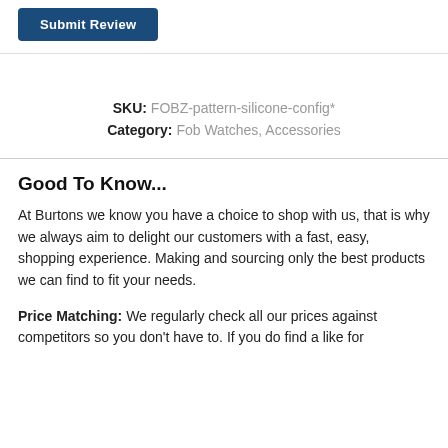[Figure (other): Dark blue 'Submit Review' button]
SKU: FOBZ-pattern-silicone-config*
Category: Fob Watches, Accessories
Good To Know...
At Burtons we know you have a choice to shop with us, that is why we always aim to delight our customers with a fast, easy, shopping experience. Making and sourcing only the best products we can find to fit your needs.
Price Matching: We regularly check all our prices against competitors so you don't have to. If you do find a like for